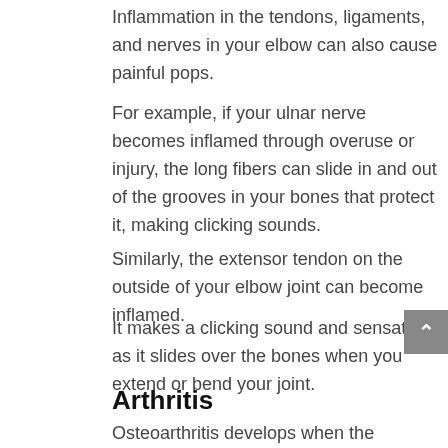Inflammation in the tendons, ligaments, and nerves in your elbow can also cause painful pops.
For example, if your ulnar nerve becomes inflamed through overuse or injury, the long fibers can slide in and out of the grooves in your bones that protect it, making clicking sounds.
Similarly, the extensor tendon on the outside of your elbow joint can become inflamed.
It makes a clicking sound and sensation as it slides over the bones when you extend or bend your joint.
Arthritis
Osteoarthritis develops when the cartilage